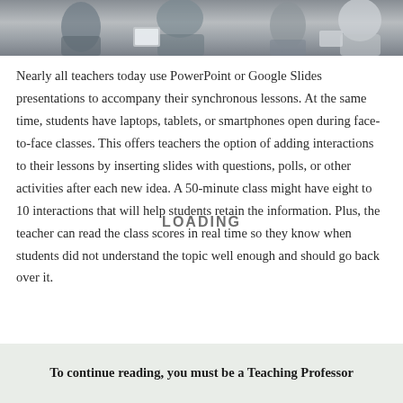[Figure (photo): Photo showing students/teachers in a classroom or meeting setting, using tablets and devices, partially cropped at top]
Nearly all teachers today use PowerPoint or Google Slides presentations to accompany their synchronous lessons. At the same time, students have laptops, tablets, or smartphones open during face-to-face classes. This offers teachers the option of adding interactions to their lessons by inserting slides with questions, polls, or other activities after each new idea. A 50-minute class might have eight to 10 interactions that will help students retain the information. Plus, the teacher can read the class scores in real time so they know when students did not understand the topic well enough and should go back over it.
To continue reading, you must be a Teaching Professor